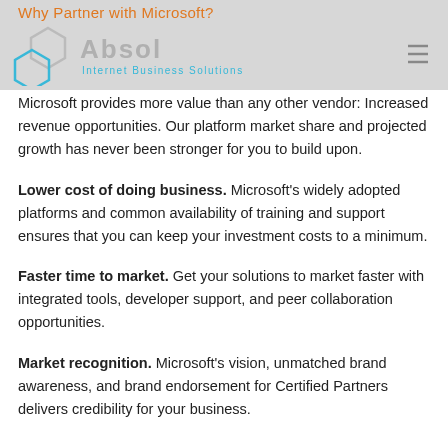Why Partner with Microsoft?
[Figure (logo): Absol Internet Business Solutions logo with hexagon shapes in cyan/blue and gray text, with hamburger menu icon on right]
Microsoft provides more value than any other vendor: Increased revenue opportunities. Our platform market share and projected growth has never been stronger for you to build upon.
Lower cost of doing business. Microsoft's widely adopted platforms and common availability of training and support ensures that you can keep your investment costs to a minimum.
Faster time to market. Get your solutions to market faster with integrated tools, developer support, and peer collaboration opportunities.
Market recognition. Microsoft's vision, unmatched brand awareness, and brand endorsement for Certified Partners delivers credibility for your business.